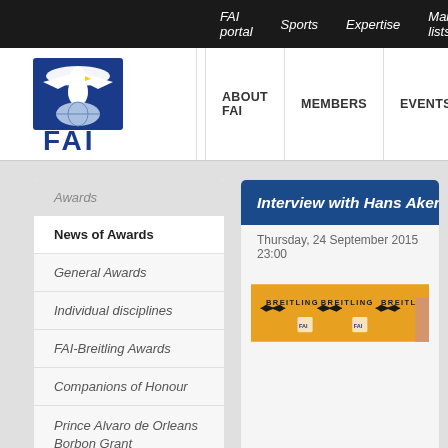FAI portal | Sports | Expertise | Mailing lists
[Figure (logo): FAI logo with eagle and blue/white design, text FAI below]
ABOUT FAI | MEMBERS | EVENTS | RECORDS | AWARDS | N
Awards
News of Awards
General Awards
Individual disciplines
FAI-Breitling Awards
Companions of Honour
Prince Alvaro de Orleans Borbon Grant
Interview with Hans Akers
Thursday, 24 September 2015 23:00
[Figure (photo): Orange Breitling branded backdrop with FAI logos, event photo]